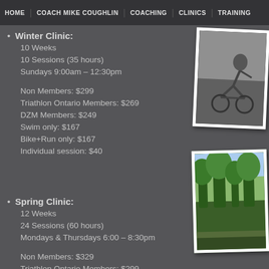HOME | COACH MIKE COUGHLIN | COACHING | CLINICS | TRAINING
Winter Clinic:
10 Weeks
10 Sessions (35 hours)
Sundays 9:00am – 12:30pm

Non Members: $299
Triathlon Ontario Members: $269
DZM Members: $249
Swim only: $167
Bike+Run only: $167
Individual session: $40
[Figure (photo): Person on a bicycle trainer, indoor cycling photo]
Spring Clinic:
12 Weeks
24 Sessions (60 hours)
Mondays & Thursdays 6:00 – 8:30pm

Non Members: $329
Triathlon Ontario Members: $299
DZM Members: $279
[Figure (photo): Outdoor cycling/running photo with trees in background]